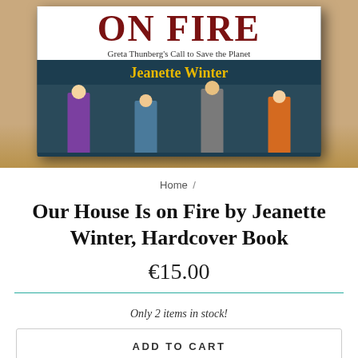[Figure (photo): Photo of the book 'Our House Is on Fire: Greta Thunberg's Call to Save the Planet' by Jeanette Winter, shown as a hardcover resting on a wooden floor. The cover features illustrated children holding up signs with drawings of the Earth, with the title in large dark red letters and author's name in yellow.]
Home /
Our House Is on Fire by Jeanette Winter, Hardcover Book
€15.00
Only 2 items in stock!
ADD TO CART